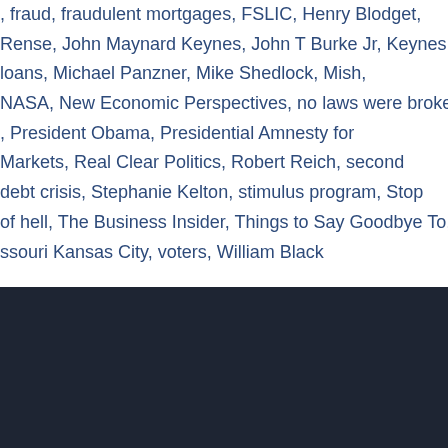, fraud, fraudulent mortgages, FSLIC, Henry Blodget, Rense, John Maynard Keynes, John T Burke Jr, Keynes loans, Michael Panzner, Mike Shedlock, Mish, NASA, New Economic Perspectives, no laws were broken, President Obama, Presidential Amnesty for Markets, Real Clear Politics, Robert Reich, second debt crisis, Stephanie Kelton, stimulus program, Stop of hell, The Business Insider, Things to Say Goodbye To, ssouri Kansas City, voters, William Black